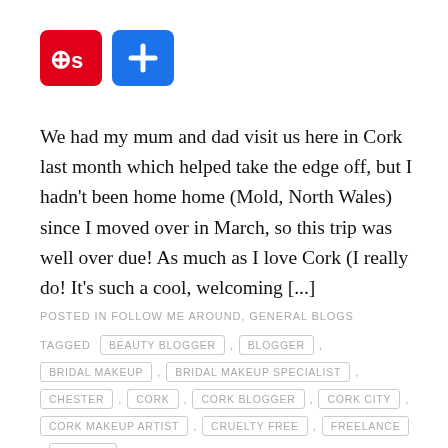[Figure (logo): Pinterest and share social media icon buttons (red Pinterest logo with 'S', blue plus button)]
We had my mum and dad visit us here in Cork last month which helped take the edge off, but I hadn't been home home (Mold, North Wales) since I moved over in March, so this trip was well over due! As much as I love Cork (I really do! It's such a cool, welcoming [...]
POSTED IN FOLLOW ME AROUND, GENERAL BLOGS
TAGGED BEAUTY BLOGGER , BLOGGER , BRIDAL MAKEUP , BRIDAL MAKEUP SPECIALIST , CHESTER , CORK , CORK BLOGGER , CORK CITY , CORK MAKEUP ARTIST , CRUELTY FREE , FREELANCE , HOLIDAY ,